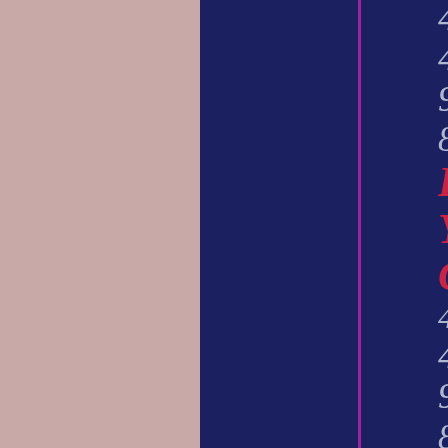417/963801/ 417- 963- 8064 Find Your Caller 4179638064 417- 963- 8006 Caller Finder 4179638006 417- 963- 8075